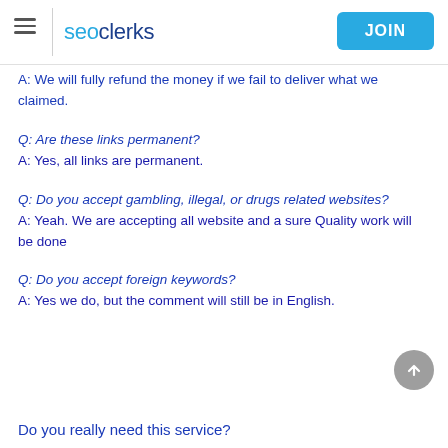seoclerks | JOIN
A: We will fully refund the money if we fail to deliver what we claimed.
Q: Are these links permanent?
A: Yes, all links are permanent.
Q: Do you accept gambling, illegal, or drugs related websites?
A: Yeah. We are accepting all website and a sure Quality work will be done
Q: Do you accept foreign keywords?
A: Yes we do, but the comment will still be in English.
Do you really need this service?